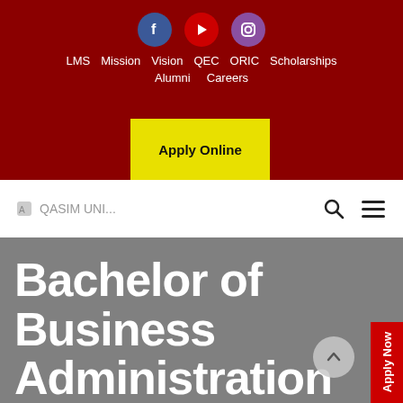[Figure (screenshot): University website header with dark red background, social media icons (Facebook, YouTube, Instagram), navigation links (LMS, Mission, Vision, QEC, ORIC, Scholarships, Alumni, Careers), and a yellow Apply Online button]
LMS  Mission  Vision  QEC  ORIC  Scholarships  Alumni  Careers
Apply Online
Bachelor of Business Administration